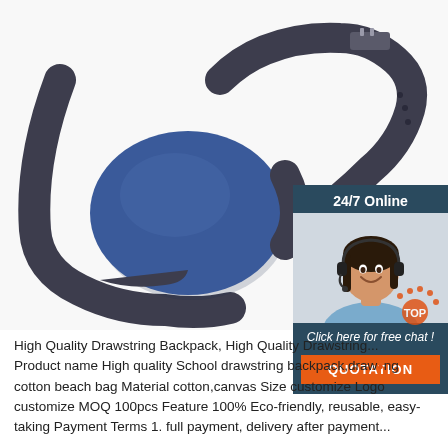[Figure (photo): Dark grey/black RFID wristband with a large blue oval disc on a white background.]
[Figure (photo): 24/7 online chat widget showing a smiling woman with a headset, with 'Click here for free chat!' text and a QUOTATION button in orange.]
High Quality Drawstring Backpack, High Quality Drawstring...
Product name High quality School drawstring backpack,drawing cotton beach bag Material cotton,canvas Size customize Logo customize MOQ 100pcs Feature 100% Eco-friendly, reusable, easy-taking Payment Terms 1. full payment, delivery after payment...